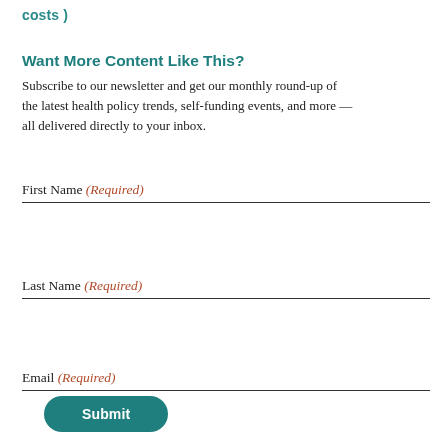costs )
Want More Content Like This?
Subscribe to our newsletter and get our monthly round-up of the latest health policy trends, self-funding events, and more — all delivered directly to your inbox.
First Name (Required)
Last Name (Required)
Email (Required)
Submit